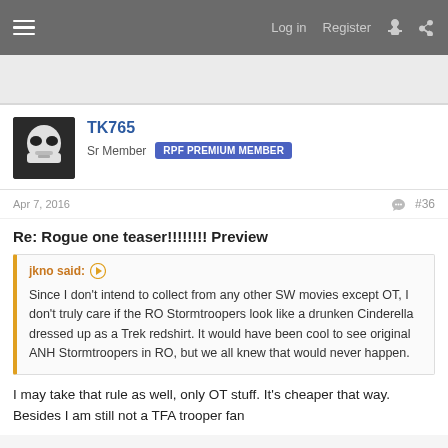Log in  Register
[Figure (photo): User avatar showing a Stormtrooper helmet]
TK765
Sr Member  RPF PREMIUM MEMBER
Apr 7, 2016  #36
Re: Rogue one teaser!!!!!!!! Preview
jkno said:
Since I don't intend to collect from any other SW movies except OT, I don't truly care if the RO Stormtroopers look like a drunken Cinderella dressed up as a Trek redshirt. It would have been cool to see original ANH Stormtroopers in RO, but we all knew that would never happen.
I may take that rule as well, only OT stuff. It's cheaper that way. Besides I am still not a TFA trooper fan